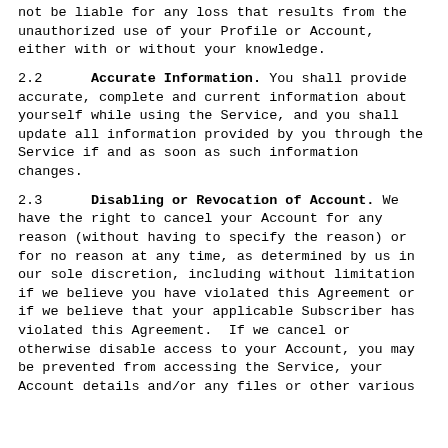not be liable for any loss that results from the unauthorized use of your Profile or Account, either with or without your knowledge.
2.2      Accurate Information. You shall provide accurate, complete and current information about yourself while using the Service, and you shall update all information provided by you through the Service if and as soon as such information changes.
2.3      Disabling or Revocation of Account. We have the right to cancel your Account for any reason (without having to specify the reason) or for no reason at any time, as determined by us in our sole discretion, including without limitation if we believe you have violated this Agreement or if we believe that your applicable Subscriber has violated this Agreement.  If we cancel or otherwise disable access to your Account, you may be prevented from accessing the Service, your Account details and/or any files or other various